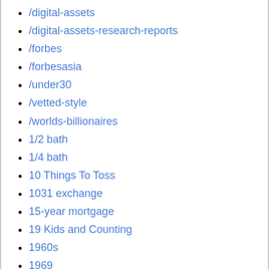/digital-assets
/digital-assets-research-reports
/forbes
/forbesasia
/under30
/vetted-style
/worlds-billionaires
1/2 bath
1/4 bath
10 Things To Toss
1031 exchange
15-year mortgage
19 Kids and Counting
1960s
1969
1980s
2016 election
2018 design trends
2018 trends